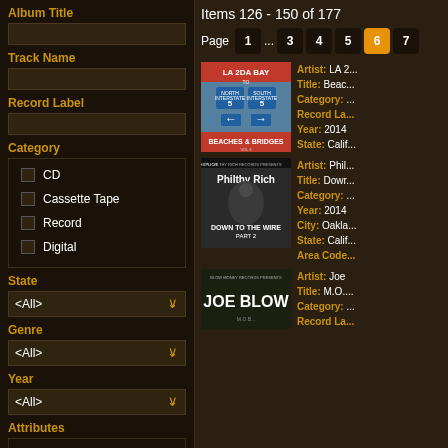Album Title
Track Name
Record Label
Category
CD
Cassette Tape
Record
Digital
State
Genre
Year
Attributes
No Barcode
Tape Only
Items 126 - 150 of 177
Page 1 ... 3 4 5 6 7
[Figure (photo): Album cover: LA 2DA BAY - Beaches & Bridges Vol 3]
Artist: LA 2...
Title: Beac...
Category: ...
Record La...
Year: 2014
State: Calif...
[Figure (photo): Album cover: Philthy Rich - Down to the Wire Part 2]
Artist: Phil...
Title: Dowr...
Category: ...
Year: 2014
City: Oakla...
State: Calif...
Area Code...
[Figure (photo): Album cover: Joe Blow - Blow Money Records Presents]
Artist: Joe
Title: M.O....
Category: ...
Record La...